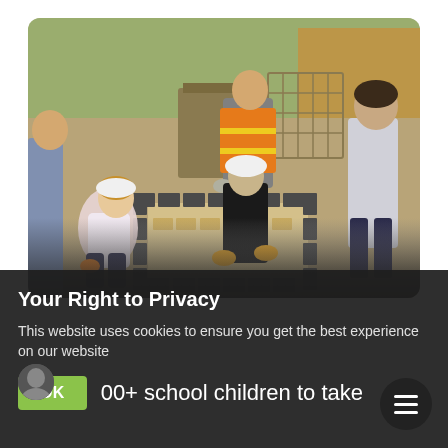[Figure (photo): Photograph of school children and an adult instructor in high-visibility orange vest and hard hats laying paving bricks/blocks outdoors on a construction site. A woman and a student in hard hats kneel placing dark and light paving stones in a pattern, while another person in an orange hi-vis vest stands behind them. Orange safety netting and stacked materials visible in background.]
Your Right to Privacy
This website uses cookies to ensure you get the best experience on our website
OK
00+ school children to take